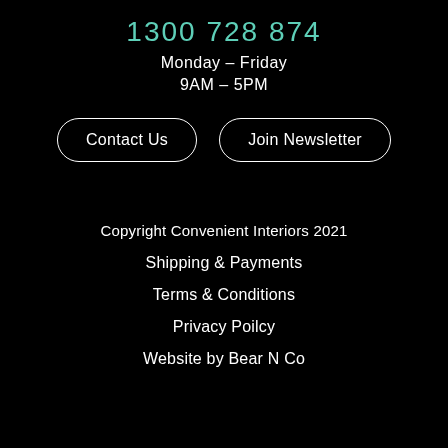1300 728 874
Monday – Friday
9AM – 5PM
Contact Us
Join Newsletter
Copyright Convenient Interiors 2021
Shipping & Payments
Terms & Conditions
Privacy Poilcy
Website by Bear N Co